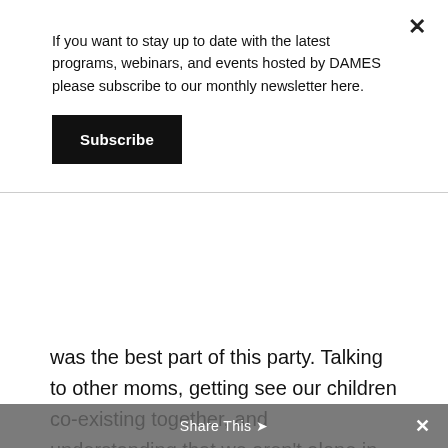If you want to stay up to date with the latest programs, webinars, and events hosted by DAMES please subscribe to our monthly newsletter here.
Subscribe
was the best part of this party. Talking to other moms, getting see our children co-existing together, and understanding that we aren't alone in this journey.
Leave a Reply
Your email address will not be published. Required fields are marked
Share This